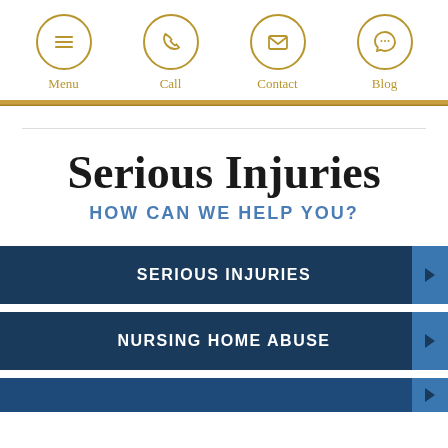Menu | Call | Contact | Blog
Serious Injuries
HOW CAN WE HELP YOU?
SERIOUS INJURIES
NURSING HOME ABUSE